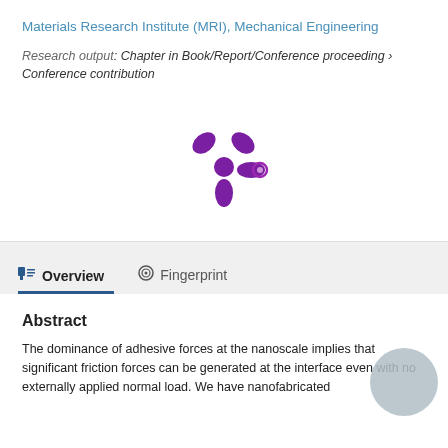Materials Research Institute (MRI), Mechanical Engineering
Research output: Chapter in Book/Report/Conference proceeding › Conference contribution
[Figure (logo): Stylized purple asterisk/snowflake logo with a small circle on one arm, resembling a research or academic portal logo]
Overview
Fingerprint
Abstract
The dominance of adhesive forces at the nanoscale implies that significant friction forces can be generated at the interface even with no externally applied normal load. We have nanofabricated